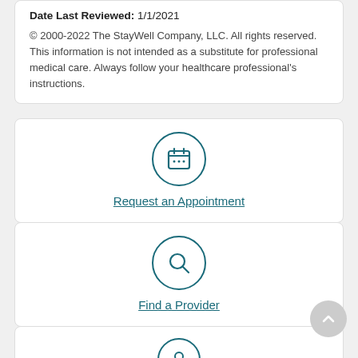Date Last Reviewed: 1/1/2021
© 2000-2022 The StayWell Company, LLC. All rights reserved. This information is not intended as a substitute for professional medical care. Always follow your healthcare professional's instructions.
[Figure (illustration): Calendar icon inside a teal circle — Request an Appointment]
Request an Appointment
[Figure (illustration): Magnifying glass / search icon inside a teal circle — Find a Provider]
Find a Provider
[Figure (illustration): Partial icon inside a teal circle at the bottom of the page (third action card, cut off)]